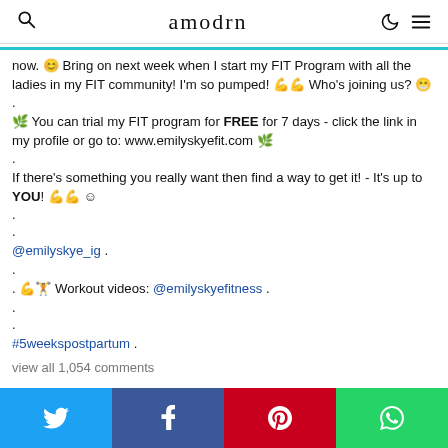amodrn
now. 😊 Bring on next week when I start my FIT Program with all the ladies in my FIT community! I'm so pumped! 💪💪 Who's joining us? 😁
.
🌿 You can trial my FIT program for FREE for 7 days - click the link in my profile or go to: www.emilyskyefit.com 🌿
.
If there's something you really want then find a way to get it! - It's up to YOU! 💪💪 ☺
.
.
@emilyskye_ig .
.
. 💪🏋 Workout videos: @emilyskyefitness .
.
.
#5weekspostpartum .
view all 1,054 comments